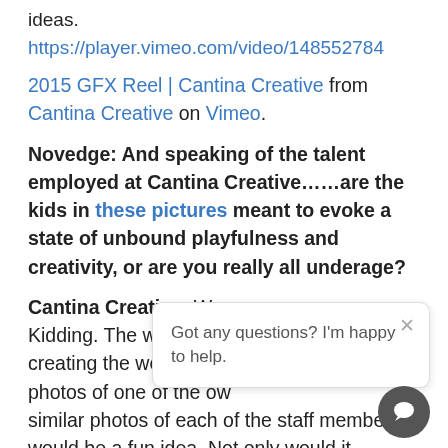ideas. https://player.vimeo.com/video/148552784
2015 GFX Reel | Cantina Creative from Cantina Creative on Vimeo.
Novedge: And speaking of the talent employed at Cantina Creative......are the kids in these pictures meant to evoke a state of unbound playfulness and creativity, or are you really all underage?
Cantina Creative: We r... Kidding. The website ph... creating the website stu... photos of one of the ow... similar photos of each of the staff members would be a fun idea. Not only would it differentiate us from... companies, but it would show off our playful spi... general sense of humor.